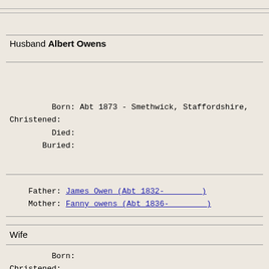Husband Albert Owens
Born: Abt 1873 - Smethwick, Staffordshire,
Christened:
Died:
Buried:
Father: James Owen (Abt 1832-        )
Mother: Fanny owens (Abt 1836-        )
Wife
Born:
Christened: